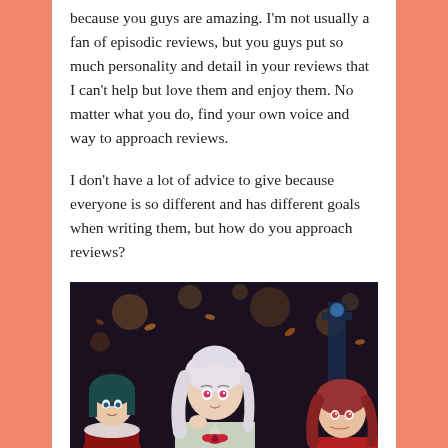because you guys are amazing. I'm not usually a fan of episodic reviews, but you guys put so much personality and detail in your reviews that I can't help but love them and enjoy them. No matter what you do, find your own voice and way to approach reviews.
I don't have a lot of advice to give because everyone is so different and has different goals when writing them, but how do you approach reviews?
[Figure (illustration): Anime scene showing three characters: a girl with teal/dark hair on the left, a white-haired girl in the center looking up with a concerned expression wearing a school uniform with a red bow, and a red-haired girl on the right. The background shows an outdoor night/evening setting with bokeh lights and autumn leaves.]